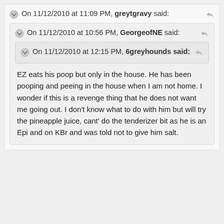On 11/12/2010 at 11:09 PM, greytgravy said:
On 11/12/2010 at 10:56 PM, GeorgeofNE said:
On 11/12/2010 at 12:15 PM, 6greyhounds said:
EZ eats his poop but only in the house. He has been pooping and peeing in the house when I am not home. I wonder if this is a revenge thing that he does not want me going out. I don't know what to do with him but will try the pineapple juice, cant' do the tenderizer bit as he is an Epi and on KBr and was told not to give him salt.